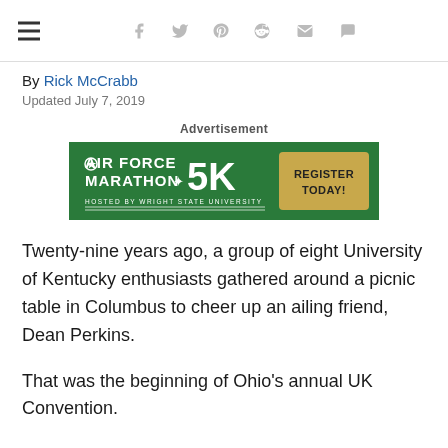Navigation and social sharing icons
By Rick McCrabb
Updated July 7, 2019
Advertisement
[Figure (other): Air Force Marathon 5K advertisement banner. Green background with white bold text reading AIR FORCE MARATHON 5K, subtitle HOSTED BY WRIGHT STATE UNIVERSITY, and a tan/gold button reading REGISTER TODAY!]
Twenty-nine years ago, a group of eight University of Kentucky enthusiasts gathered around a picnic table in Columbus to cheer up an ailing friend, Dean Perkins.
That was the beginning of Ohio’s annual UK Convention.